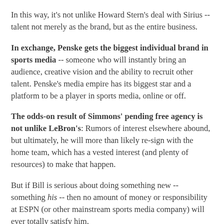In this way, it's not unlike Howard Stern's deal with Sirius -- talent not merely as the brand, but as the entire business.
In exchange, Penske gets the biggest individual brand in sports media -- someone who will instantly bring an audience, creative vision and the ability to recruit other talent. Penske's media empire has its biggest star and a platform to be a player in sports media, online or off.
The odds-on result of Simmons' pending free agency is not unlike LeBron's: Rumors of interest elsewhere abound, but ultimately, he will more than likely re-sign with the home team, which has a vested interest (and plenty of resources) to make that happen.
But if Bill is serious about doing something new -- something his -- then no amount of money or responsibility at ESPN (or other mainstream sports media company) will ever totally satisfy him.
And that is an opportunity for Penske -- or any other media-